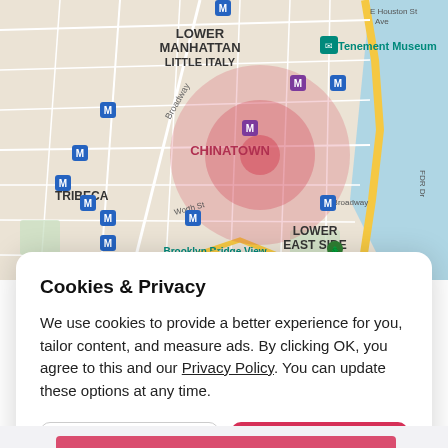[Figure (map): Street map of Lower Manhattan showing neighborhoods including Lower Manhattan, Little Italy, Tribeca, Chinatown, Lower East Side, and Financial District. Features subway (M) markers, landmarks like Tenement Museum, Brooklyn Bridge View, Pier 35, and a red circular highlight centered on Chinatown. Streets include Broadway, Worth St, E Broadway, FDR Dr, E Houston St.]
Cookies & Privacy
We use cookies to provide a better experience for you, tailor content, and measure ads. By clicking OK, you agree to this and our Privacy Policy. You can update these options at any time.
Cookie Preferences
OK